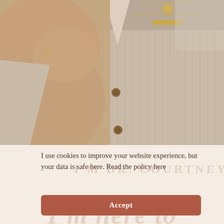[Figure (photo): Close-up photo of a person wearing a light beige/cream knit cardigan with buttons, hand placed on chest, and layered gold necklaces visible at the neckline]
I use cookies to improve your website experience, but your data is safe here. Read the policy here
Accept
I'm here to